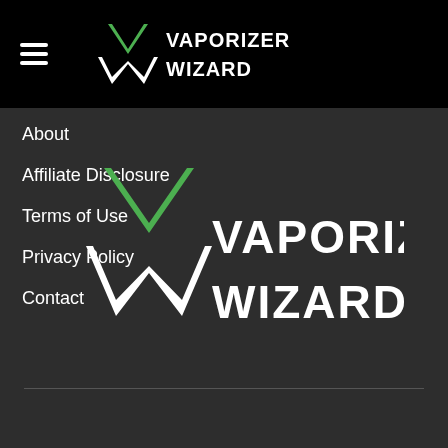Vaporizer Wizard
About
Affiliate Disclosure
Terms of Use
Privacy Policy
Contact
[Figure (logo): Vaporizer Wizard logo - large version with green and white chevron/arrow mark and bold white text VAPORIZER WIZARD]